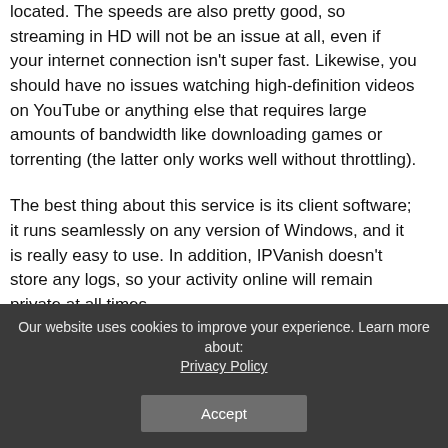located. The speeds are also pretty good, so streaming in HD will not be an issue at all, even if your internet connection isn't super fast. Likewise, you should have no issues watching high-definition videos on YouTube or anything else that requires large amounts of bandwidth like downloading games or torrenting (the latter only works well without throttling).
The best thing about this service is its client software; it runs seamlessly on any version of Windows, and it is really easy to use. In addition, IPVanish doesn't store any logs, so your activity online will remain private at all times.
If you are interested in a long-term subscription for this service, then go ahead and get the yearly plan because it offers the best
Our website uses cookies to improve your experience. Learn more about: Privacy Policy
Accept